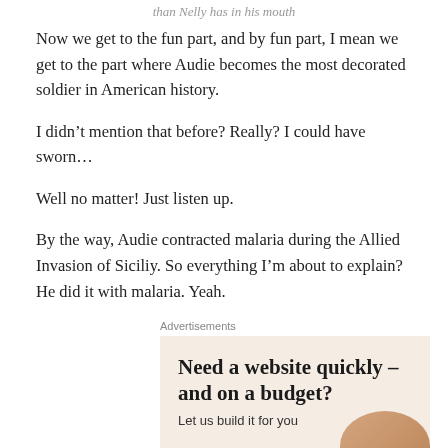than Nelly has in his mouth
Now we get to the fun part, and by fun part, I mean we get to the part where Audie becomes the most decorated soldier in American history.
I didn’t mention that before? Really? I could have sworn…
Well no matter! Just listen up.
By the way, Audie contracted malaria during the Allied Invasion of Siciliy. So everything I’m about to explain? He did it with malaria. Yeah.
Advertisements
[Figure (other): Advertisement box with beige/cream background showing text 'Need a website quickly – and on a budget?' with subtext 'Let us build it for you' and a partial image of a person at the bottom right.]